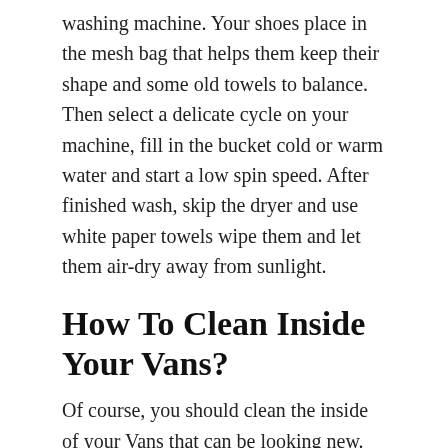washing machine. Your shoes place in the mesh bag that helps them keep their shape and some old towels to balance. Then select a delicate cycle on your machine, fill in the bucket cold or warm water and start a low spin speed. After finished wash, skip the dryer and use white paper towels wipe them and let them air-dry away from sunlight.
How To Clean Inside Your Vans?
Of course, you should clean the inside of your Vans that can be looking new. Here's we will write below how to clean them well.
1. Keep your Vans surface clean lay down a soft towel
2. Mix baking soda with mild detergent to create a paste
3. Using a bristle brush or old toothbrush to apply the